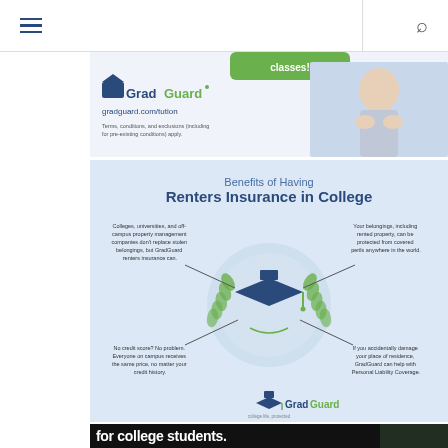Navigation header with hamburger menu and search icon
[Figure (infographic): GradGuard advertisement banner showing logo, gradguard.com/tution URL, terms text, and stressed student image]
[Figure (infographic): Benefits of Having Renters Insurance in College infographic by GradGuard. Shows graduation cap with laurel wreath in center circle. Four benefit text blocks connected by lines: top-left: Colleges, universities, and off-campus property management companies don't replace stolen belongings, but GradGuard renters insurance can. Top-right: Your belongings, including rented property, can be protected from covered perils anywhere in the world. Bottom-left: No credit score? No problem. Everyone on campus receives the same price, no matter your credit history. Bottom-right: If you accidentally damage your place of residence, GradGuard can help with Personal Liability Coverage. GradGuard logo at bottom.]
[Figure (infographic): Bottom banner: 'for college students.' text in bold white on dark background with partial image of shelves]